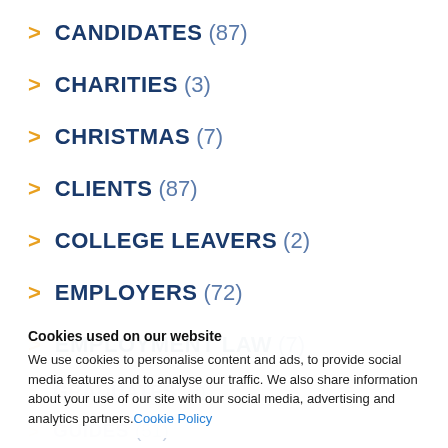CANDIDATES (87)
CHARITIES (3)
CHRISTMAS (7)
CLIENTS (87)
COLLEGE LEAVERS (2)
EMPLOYERS (72)
EMPLOYMENT LAW (7)
GRADUATES (9)
GUIDES (51)
HOLIDAYS (5)
Cookies used on our website
We use cookies to personalise content and ads, to provide social media features and to analyse our traffic. We also share information about your use of our site with our social media, advertising and analytics partners. Cookie Policy